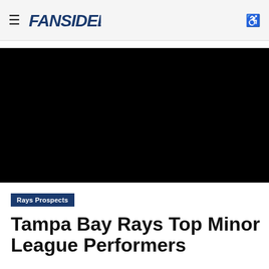FanSided
[Figure (photo): Black hero image placeholder for article]
Rays Prospects
Tampa Bay Rays Top Minor League Performers